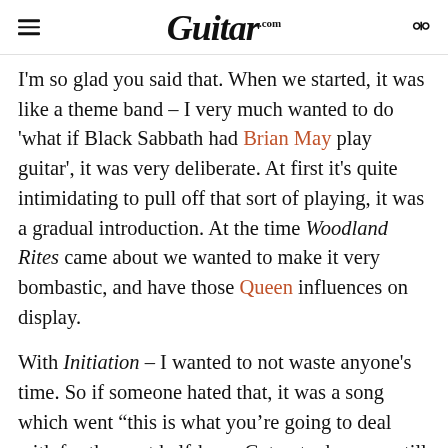Guitar.com
I'm so glad you said that. When we started, it was like a theme band – I very much wanted to do 'what if Black Sabbath had Brian May play guitar', it was very deliberate. At first it's quite intimidating to pull off that sort of playing, it was a gradual introduction. At the time Woodland Rites came about we wanted to make it very bombastic, and have those Queen influences on display.
With Initiation – I wanted to not waste anyone's time. So if someone hated that, it was a song which went "this is what you're going to deal with for the next half-hour. Get out when you still can." The harmonies in that solo are constructed in a very